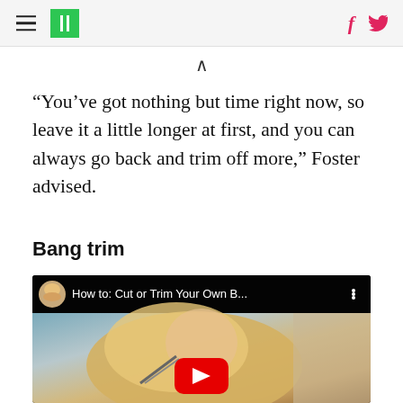HuffPost navigation with hamburger menu, logo, Facebook and Twitter icons
“You’ve got nothing but time right now, so leave it a little longer at first, and you can always go back and trim off more,” Foster advised.
Bang trim
[Figure (screenshot): YouTube video thumbnail showing 'How to: Cut or Trim Your Own B...' with a woman with blonde hair cutting her bangs with scissors, red YouTube play button overlay]